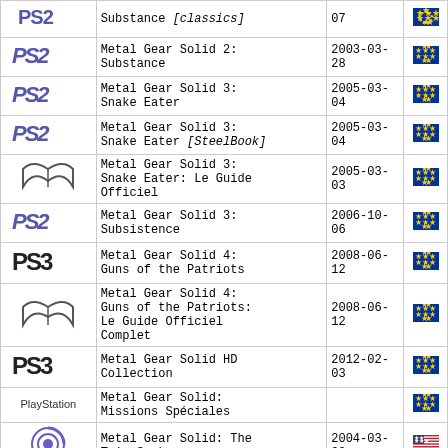| Platform | Title | Date | Region |
| --- | --- | --- | --- |
| PS2 | Metal Gear Solid 2: Substance [classics] | 07 | EU |
| PS2 | Metal Gear Solid 2: Substance | 2003-03-28 | EU |
| PS2 | Metal Gear Solid 3: Snake Eater | 2005-03-04 | EU |
| PS2 | Metal Gear Solid 3: Snake Eater [SteelBook] | 2005-03-04 | EU |
| Book | Metal Gear Solid 3: Snake Eater: Le Guide Officiel | 2005-03-03 | EU |
| PS2 | Metal Gear Solid 3: Subsistence | 2006-10-06 | EU |
| PS3 | Metal Gear Solid 4: Guns of the Patriots | 2008-06-12 | EU |
| Book | Metal Gear Solid 4: Guns of the Patriots: Le Guide Officiel Complet | 2008-06-12 | EU |
| PS3 | Metal Gear Solid HD Collection | 2012-02-03 | EU |
| PlayStation | Metal Gear Solid: Missions Spéciales |  | EU |
| GameCube | Metal Gear Solid: The Twin Snakes | 2004-03-09 | US |
| GameCube | Metal Gear Solid: The Twin Snakes | 2004-03-26 | EU |
| Xbox | Metal Slug 3 | 2004-11-05 | EU |